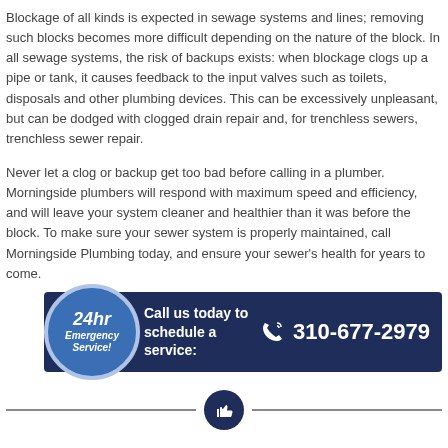Blockage of all kinds is expected in sewage systems and lines; removing such blocks becomes more difficult depending on the nature of the block. In all sewage systems, the risk of backups exists: when blockage clogs up a pipe or tank, it causes feedback to the input valves such as toilets, disposals and other plumbing devices. This can be excessively unpleasant, but can be dodged with clogged drain repair and, for trenchless sewers, trenchless sewer repair.
Never let a clog or backup get too bad before calling in a plumber. Morningside plumbers will respond with maximum speed and efficiency, and will leave your system cleaner and healthier than it was before the block. To make sure your sewer system is properly maintained, call Morningside Plumbing today, and ensure your sewer's health for years to come.
[Figure (infographic): Dark navy blue banner with a circular badge on the left reading '24hr Emergency Service!' in italic white text with a blue border. Banner text reads 'Call us today to schedule a service:' followed by a phone icon and the number 310-677-2979 in white.]
[Figure (infographic): A horizontal divider line with a dark navy circular thumbs-up icon in the center.]